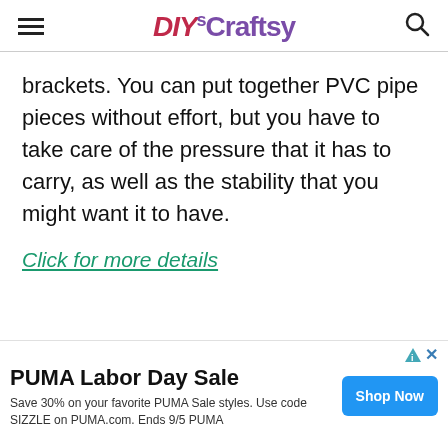DIYs Craftsy
brackets. You can put together PVC pipe pieces without effort, but you have to take care of the pressure that it has to carry, as well as the stability that you might want it to have.
Click for more details
[Figure (other): Collapse/expand chevron button bar]
[Figure (other): PUMA Labor Day Sale advertisement banner with Shop Now button]